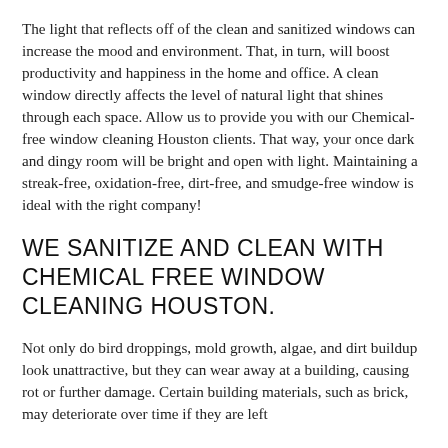The light that reflects off of the clean and sanitized windows can increase the mood and environment. That, in turn, will boost productivity and happiness in the home and office. A clean window directly affects the level of natural light that shines through each space. Allow us to provide you with our Chemical-free window cleaning Houston clients. That way, your once dark and dingy room will be bright and open with light. Maintaining a streak-free, oxidation-free, dirt-free, and smudge-free window is ideal with the right company!
WE SANITIZE AND CLEAN WITH CHEMICAL FREE WINDOW CLEANING HOUSTON.
Not only do bird droppings, mold growth, algae, and dirt buildup look unattractive, but they can wear away at a building, causing rot or further damage. Certain building materials, such as brick, may deteriorate over time if they are left